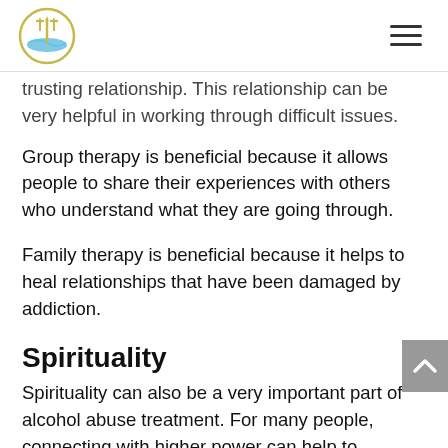[Logo: Trident/wave emblem] [Hamburger menu icon]
trusting relationship. This relationship can be very helpful in working through difficult issues.
Group therapy is beneficial because it allows people to share their experiences with others who understand what they are going through.
Family therapy is beneficial because it helps to heal relationships that have been damaged by addiction.
Spirituality
Spirituality can also be a very important part of alcohol abuse treatment. For many people, connecting with higher power can help to